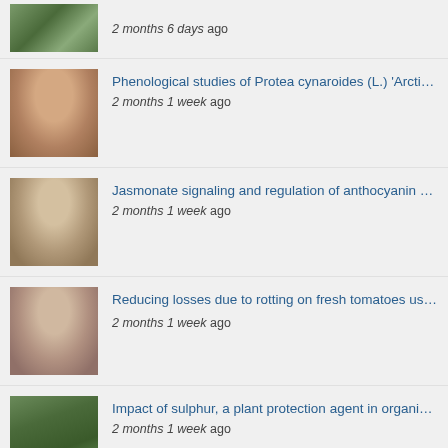2 months 6 days ago
Phenological studies of Protea cynaroides (L.) 'Arctic Ice' following... — 2 months 1 week ago
Jasmonate signaling and regulation of anthocyanin biosynthesis i... — 2 months 1 week ago
Reducing losses due to rotting on fresh tomatoes using SO2 — 2 months 1 week ago
Impact of sulphur, a plant protection agent in organic apple produ... — 2 months 1 week ago
Effect of leguminous green manure crops on white cabbage in org... — 2 months 1 week ago
Effects of indoor LED light on secondary metabolites biosynthesis... — 2 months 1 week ago